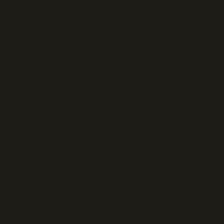[Figure (photo): A nearly completely black/very dark brown image with no visible text or distinguishable content. The page appears to be a blank or blacked-out document page with a dark brownish-black background color approximately #1e1c17.]